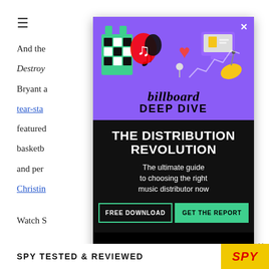[Figure (screenshot): Mobile web page screenshot showing a Billboard article partially obscured by an ad overlay. Background shows hamburger menu icon and article text about 'Destroys' and Bryant with links. A Billboard Deep Dive ad overlay is centered, with a purple top section featuring TikTok-themed illustration icons, 'billboard DEEP DIVE' branding, then a black section with bold text 'THE DISTRIBUTION REVOLUTION', subtitle 'The ultimate guide to choosing the right music distributor now', and two buttons: 'FREE DOWNLOAD' (outlined) and 'GET THE REPORT' (green filled). Bottom has a 'SPY TESTED & REVIEWED' banner with yellow SPY logo area.]
Destroys ... to Bryant a ... k after a tear-sta... featured ... nt, basketb... 'Neal and pe...
Watch S...
[Figure (screenshot): Billboard Deep Dive advertisement overlay with purple header, TikTok icons illustration, billboard deep dive branding, black body with 'THE DISTRIBUTION REVOLUTION' headline, subtitle about music distributor guide, FREE DOWNLOAD and GET THE REPORT buttons]
SPY TESTED & REVIEWED